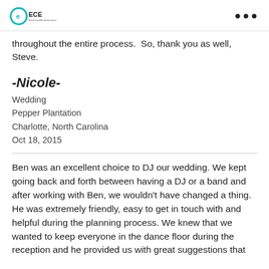ECE EastCoastEntertainment
throughout the entire process.  So, thank you as well, Steve.
-Nicole-
Wedding
Pepper Plantation
Charlotte, North Carolina
Oct 18, 2015
Ben was an excellent choice to DJ our wedding. We kept going back and forth between having a DJ or a band and after working with Ben, we wouldn't have changed a thing. He was extremely friendly, easy to get in touch with and helpful during the planning process. We knew that we wanted to keep everyone in the dance floor during the reception and he provided us with great suggestions that